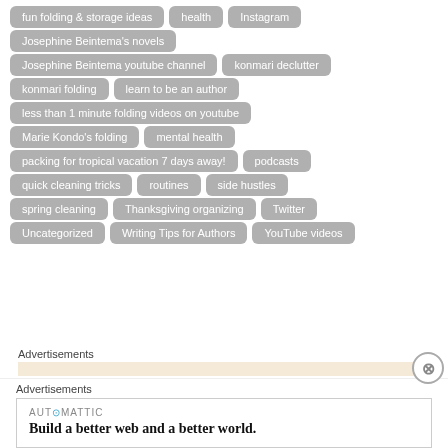fun folding & storage ideas
health
Instagram
Josephine Beintema's novels
Josephine Beintema youtube channel
konmari declutter
konmari folding
learn to be an author
less than 1 minute folding videos on youtube
Marie Kondo's folding
mental health
packing for tropical vacation 7 days away!
podcasts
quick cleaning tricks
routines
side hustles
spring cleaning
Thanksgiving organizing
Twitter
Uncategorized
Writing Tips for Authors
YouTube videos
Advertisements
Advertisements
AUTOMATTIC
Build a better web and a better world.